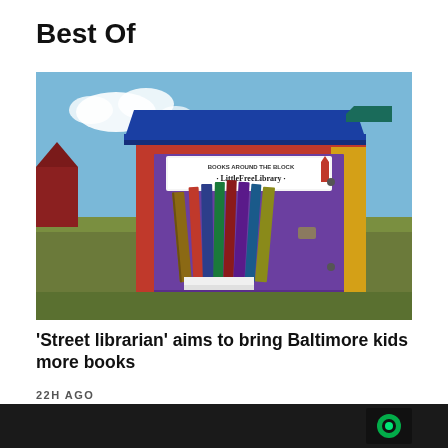Best Of
[Figure (photo): A Little Free Library box open showing books inside, with a colorful red, purple, blue and yellow wooden cabinet on a post. The sign reads 'Books Around The Block - LittleFreeLibrary'. Background shows an open field with a red barn and cloudy sky.]
'Street librarian' aims to bring Baltimore kids more books
22H AGO